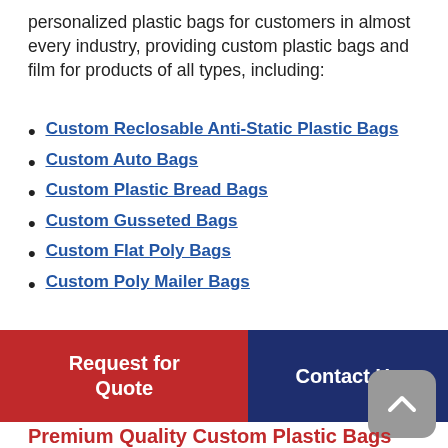personalized plastic bags for customers in almost every industry, providing custom plastic bags and film for products of all types, including:
Custom Reclosable Anti-Static Plastic Bags
Custom Auto Bags
Custom Plastic Bread Bags
Custom Gusseted Bags
Custom Flat Poly Bags
Custom Poly Mailer Bags
Request for Quote | Contact Us
Premium Quality Custom Plastic Bags Made to YOUR Specifications